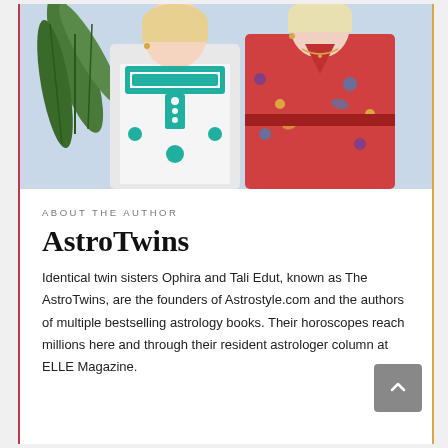[Figure (photo): Two women standing side by side. Left woman wears a white top with teal/green embroidered pattern. Right woman wears a red/coral floral patterned dress. Green plant leaves visible on the left. Light blue/grey background.]
ABOUT THE AUTHOR
AstroTwins
Identical twin sisters Ophira and Tali Edut, known as The AstroTwins, are the founders of Astrostyle.com and the authors of multiple bestselling astrology books. Their horoscopes reach millions here and through their resident astrologer column at ELLE Magazine.